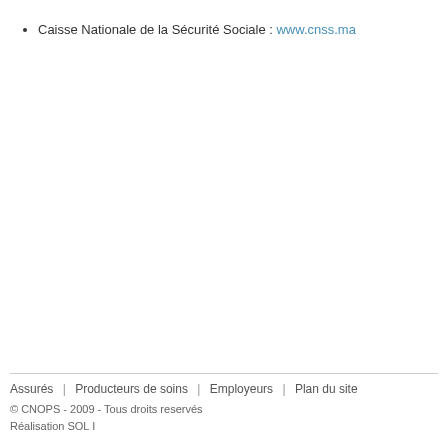Caisse Nationale de la Sécurité Sociale : www.cnss.ma
Assurés | Producteurs de soins | Employeurs | Plan du site
© CNOPS - 2009 - Tous droits reservés
Réalisation SOL I